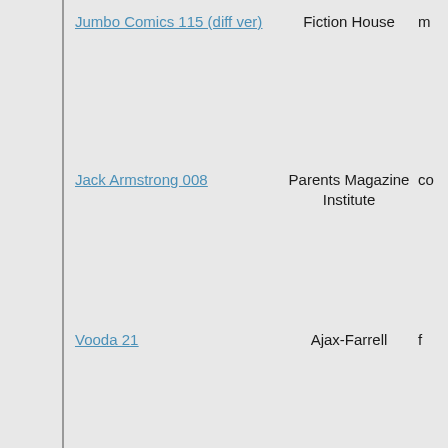Jumbo Comics 115 (diff ver) | Fiction House | m
Jack Armstrong 008 | Parents Magazine Institute | co
Vooda 21 | Ajax-Farrell | f
Jungle Jo 00 | Fox Feature Syndicate | f
Jumbo Comics 109 (diff ver) | Fiction House | m
Jungle Comics 149 (diff ver) | Fiction House
Master Comics 052 (diff ver) | Fawcett Comics | f
Crackajack Funnies 027 - paper (no Tarzan text story) | Dell Comics | f